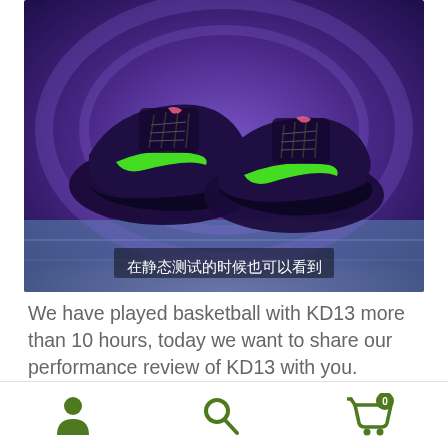[Figure (photo): Nike KD13 basketball shoes in purple/black colorway with neon green swoosh on blue background, with Chinese subtitle overlay reading 在静态测试的时候也可以看到]
We have played basketball with KD13 more than 10 hours, today we want to share our performance review of KD13 with you.
I think that the shoe tree of KD13 is the most perfect one comparing with other KD signature shoes.
[Figure (photo): Partial view of sneakers on blue background]
Navigation bar with user icon, search icon, and cart icon showing 0 items